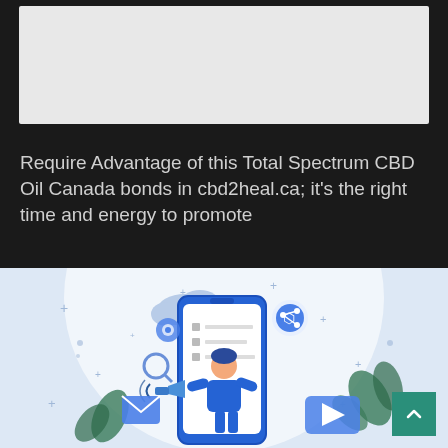[Figure (other): Gray placeholder image area at the top of the page on dark background]
Require Advantage of this Total Spectrum CBD Oil Canada bonds in cbd2heal.ca; it's the right time and energy to promote
[Figure (illustration): Digital marketing illustration: person holding megaphone emerging from a smartphone, surrounded by social media and communication icons (email, share, play button, search, camera) on a light blue background with decorative plus signs and leaves]